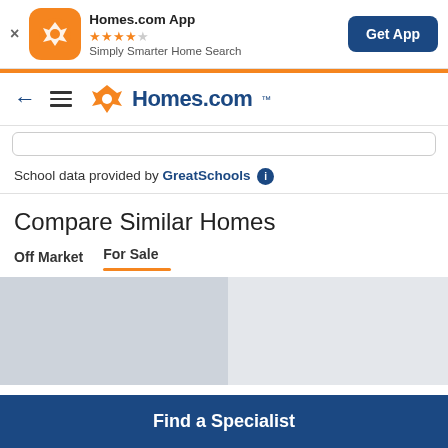[Figure (screenshot): Homes.com app banner with orange app icon showing star logo, 4.5 star rating, tagline 'Simply Smarter Home Search', and 'Get App' blue button]
[Figure (logo): Homes.com navigation bar with back arrow, hamburger menu, and Homes.com logo]
School data provided by GreatSchools (i)
Compare Similar Homes
Off Market  For Sale
[Figure (screenshot): Two placeholder card images side by side, loading state]
Find a Specialist